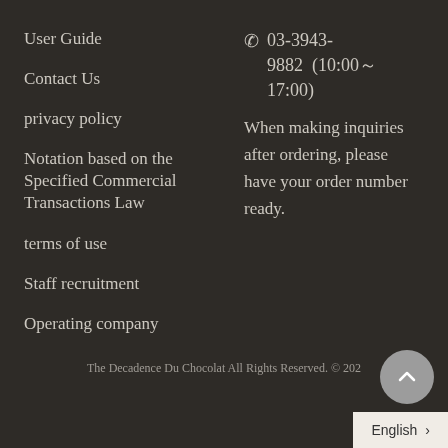User Guide
Contact Us
privacy policy
Notation based on the Specified Commercial Transactions Law
terms of use
Staff recruitment
Operating company
03-3943-9882  (10:00～17:00)
When making inquiries after ordering, please have your order number ready.
The Decadence Du Chocolat All Rights Reserved. © 202
English ›